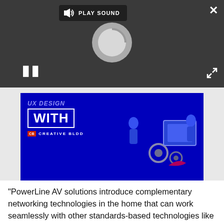[Figure (screenshot): Video player overlay with dark grey background showing a 'PLAY SOUND' label with speaker icon, a spinning/loading circle graphic, pause button (||), close (X) button top-right, and expand/fullscreen icon bottom-right.]
[Figure (screenshot): Video thumbnail showing a dark blue background with text 'UX DESIGN WITH' in white bold letters inside a white bordered box, and 'CB CREATIVE BLDD' branding with a red CB logo square. Right side shows illustrated figures and UI elements on a laptop/monitor.]
"PowerLine AV solutions introduce complementary networking technologies in the home that can work seamlessly with other standards-based technologies like Wireless-N and Ethernet."